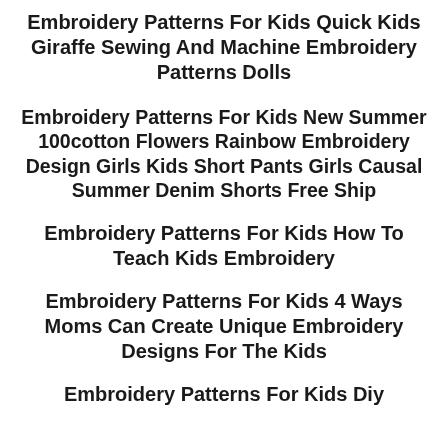Embroidery Patterns For Kids Quick Kids Giraffe Sewing And Machine Embroidery Patterns Dolls
Embroidery Patterns For Kids New Summer 100cotton Flowers Rainbow Embroidery Design Girls Kids Short Pants Girls Causal Summer Denim Shorts Free Ship
Embroidery Patterns For Kids How To Teach Kids Embroidery
Embroidery Patterns For Kids 4 Ways Moms Can Create Unique Embroidery Designs For The Kids
Embroidery Patterns For Kids Diy